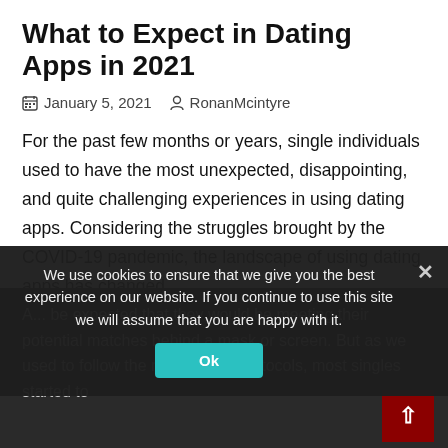What to Expect in Dating Apps in 2021
January 5, 2021   RonanMcintyre
For the past few months or years, single individuals used to have the most unexpected, disappointing, and quite challenging experiences in using dating apps. Considering the struggles brought by the COVID-19 pandemic, the landscape of using dating apps has changed.
But with the massive trends on dating apps, finding your perfect matches and improving your odds would be way easier than before.
A... be expected that they would be meeting their potential matches behind a mask or screen. But as we used to follow the new normal protocols, most singles started to
We use cookies to ensure that we give you the best experience on our website. If you continue to use this site we will assume that you are happy with it.